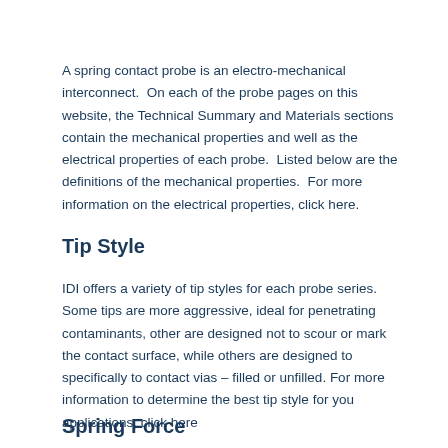A spring contact probe is an electro-mechanical interconnect.  On each of the probe pages on this website, the Technical Summary and Materials sections contain the mechanical properties and well as the electrical properties of each probe.  Listed below are the definitions of the mechanical properties.  For more information on the electrical properties, click here.
Tip Style
IDI offers a variety of tip styles for each probe series. Some tips are more aggressive, ideal for penetrating contaminants, other are designed not to scour or mark the contact surface, while others are designed to specifically to contact vias – filled or unfilled. For more information to determine the best tip style for you applications, click here
Spring Force